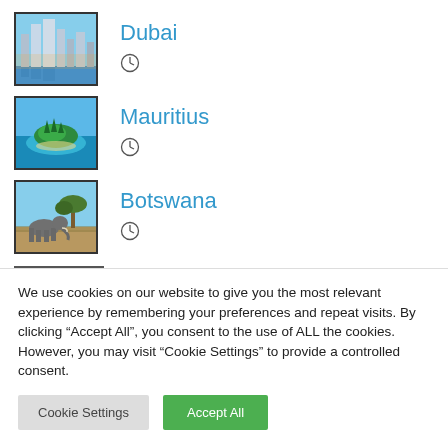Dubai
Mauritius
Botswana
We use cookies on our website to give you the most relevant experience by remembering your preferences and repeat visits. By clicking “Accept All”, you consent to the use of ALL the cookies. However, you may visit “Cookie Settings” to provide a controlled consent.